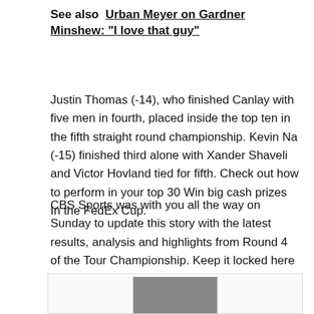See also  Urban Meyer on Gardner Minshew: "I love that guy"
Justin Thomas (-14), who finished Canlay with five men in fourth, placed inside the top ten in the fifth straight round championship. Kevin Na (-15) finished third alone with Xander Shaveli and Victor Hovland tied for fifth. Check out how to perform in your top 30 Win big cash prizes In the FedEx Cup.
CBS Sports was with you all the way on Sunday to update this story with the latest results, analysis and highlights from Round 4 of the Tour Championship. Keep it locked here for post-event takeaway, and click here for more details leaderboard.
[Figure (photo): Partial photo of a person at the bottom of the page]